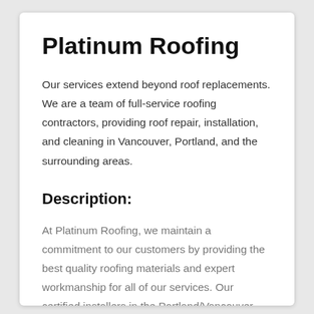Platinum Roofing
Our services extend beyond roof replacements. We are a team of full-service roofing contractors, providing roof repair, installation, and cleaning in Vancouver, Portland, and the surrounding areas.
Description:
At Platinum Roofing, we maintain a commitment to our customers by providing the best quality roofing materials and expert workmanship for all of our services. Our certified installers in the Portland/Vancouver region are honest and trustworthy from start to finish. All of our roofers are manufacturer trained and certified to ensure we